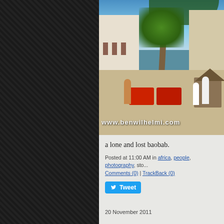[Figure (photo): Street market scene in an African town (Zanzibar), showing vendors with carts of red produce (tomatoes), colonial-style white buildings, a palm tree, thatched huts, and people in traditional dress. Watermark reads www.benwilhelmi.com]
a lone and lost baobab.
Posted at 11:00 AM in africa, people, photography, sto... Comments (0) | TrackBack (0)
Tweet
20 November 2011